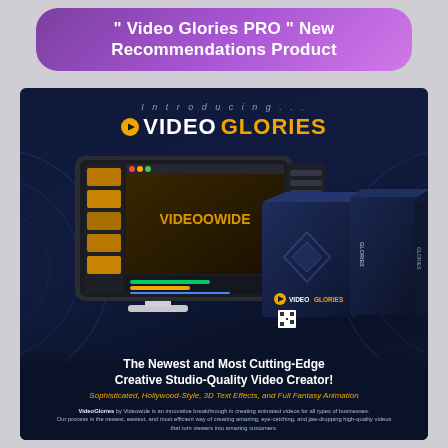" Video Glories PRO " New Recommendations Product
[Figure (screenshot): VideoGlories product promotional image showing a dark-themed video editing software interface on a computer monitor with 'VIDEOOWIDE' text visible on screen, alongside boxed product packaging labeled 'VIDEOGLORIES'. Text reads: Introducing... VIDEOGLORIES. The Newest and Most Cutting-Edge Creative Studio-Quality Video Creator! Sophisticated, Hollywood-Style, 3D Text Effects, and Full Fantasy Animation. VideoGlories by Videowide is an innovative breakthrough in creating animated videos for all types of businesses. Our process is the newest, easiest, and most efficient way of creating amazing, eye-catching, and jaw-dropping high-quality videos that turn viewers into amazing customers.]